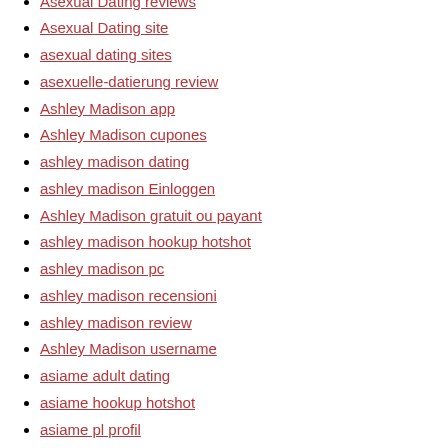Asexual Dating reviews
Asexual Dating site
asexual dating sites
asexuelle-datierung review
Ashley Madison app
Ashley Madison cupones
ashley madison dating
ashley madison Einloggen
Ashley Madison gratuit ou payant
ashley madison hookup hotshot
ashley madison pc
ashley madison recensioni
ashley madison review
Ashley Madison username
asiame adult dating
asiame hookup hotshot
asiame pl profil
Asiame profil ansehen
Asiame profile examples
Asiame reviews
asiame visitors
asian brides
asian dates de reviews
asian dates review
asian dates swiss a